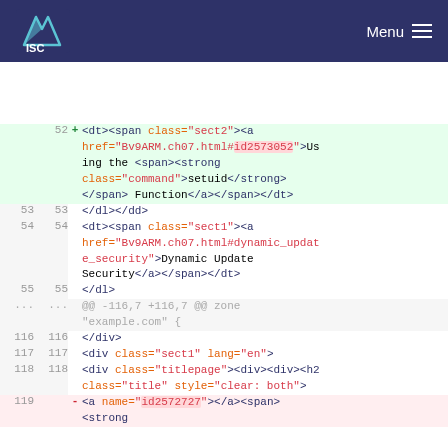ISC Menu
Code diff view showing XML/HTML source changes. Lines 52-55, 116-119 with additions and deletions.